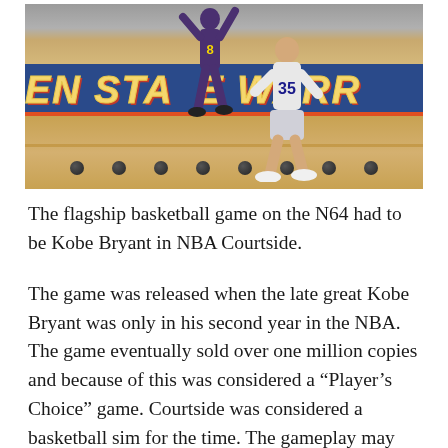[Figure (screenshot): Screenshot of NBA Courtside video game on N64 showing basketball players on court with Golden State Warriors arena banner visible]
The flagship basketball game on the N64 had to be Kobe Bryant in NBA Courtside.
The game was released when the late great Kobe Bryant was only in his second year in the NBA. The game eventually sold over one million copies and because of this was considered a “Player’s Choice” game. Courtside was considered a basketball sim for the time. The gameplay may not hold up as well as some of the arcade basketball games from the N64. But when we think N64 sports games, we think Kobe Bryant.